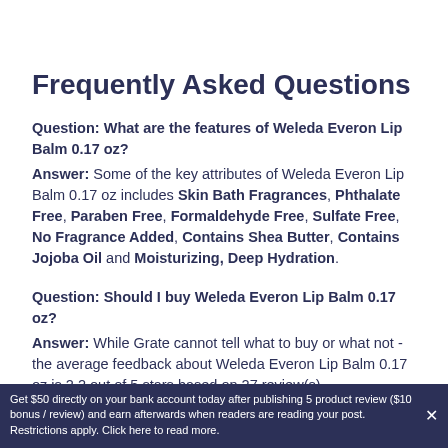Frequently Asked Questions
Question: What are the features of Weleda Everon Lip Balm 0.17 oz?
Answer: Some of the key attributes of Weleda Everon Lip Balm 0.17 oz includes Skin Bath Fragrances, Phthalate Free, Paraben Free, Formaldehyde Free, Sulfate Free, No Fragrance Added, Contains Shea Butter, Contains Jojoba Oil and Moisturizing, Deep Hydration.
Question: Should I buy Weleda Everon Lip Balm 0.17 oz?
Answer: While Grate cannot tell what to buy or what not - the average feedback about Weleda Everon Lip Balm 0.17 oz is 2.2 out of 5 stars based on 27 review(s)
Get $50 directly on your bank account today after publishing 5 product review ($10 bonus / review) and earn afterwards when readers are reading your post. Restrictions apply. Click here to read more.